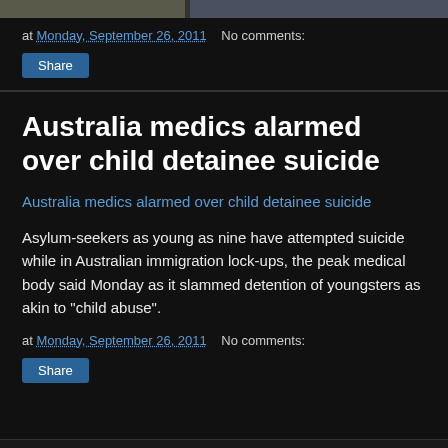[Figure (photo): Partial top of an image, appears to be a news photo, cropped at top of page]
at Monday, September 26, 2011   No comments:
Share
Australia medics alarmed over child detainee suicide
Australia medics alarmed over child detainee suicide
Asylum-seekers as young as nine have attempted suicide while in Australian immigration lock-ups, the peak medical body said Monday as it slammed detention of youngsters as akin to "child abuse".
at Monday, September 26, 2011   No comments:
Share